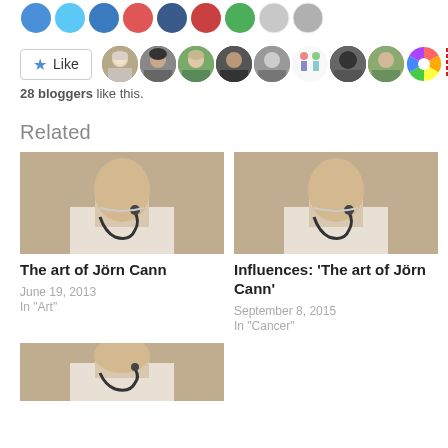[Figure (illustration): Row of social sharing avatar circles at top of page]
[Figure (illustration): Like button with star icon and row of 10 blogger avatar thumbnails]
28 bloggers like this.
Related
[Figure (photo): Photo of doctor with stethoscope, smiling, black and white toned image - card for 'The art of Jörn Cann']
The art of Jörn Cann
June 19, 2013
In "Art"
[Figure (photo): Photo of doctor with stethoscope, smiling, black and white toned image - card for 'Influences: The art of Jörn Cann']
Influences: 'The art of Jörn Cann'
September 8, 2015
In "Cancer"
[Figure (photo): Photo of doctor with stethoscope, smiling, black and white toned image - partial card at bottom]